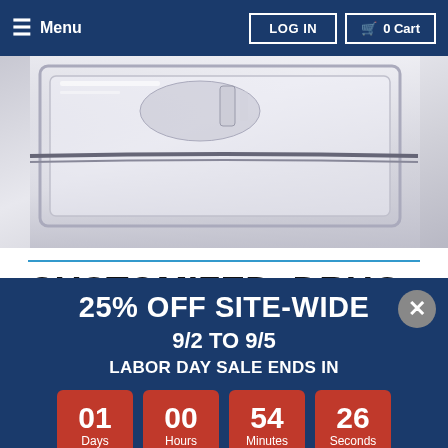≡ Menu | LOG IN | 🛒 0 Cart
[Figure (photo): Close-up product photo showing what appears to be a medical or cooling device with clear plastic casing and internal components visible]
CUSTOMIZED, DRUG FREE PAIN RELIEF
[Figure (infographic): Promotional popup banner: 25% OFF SITE-WIDE 9/2 TO 9/5 LABOR DAY SALE ENDS IN with countdown showing 01 Days, 00 Hours, 54 Minutes, 26 Seconds on red boxes]